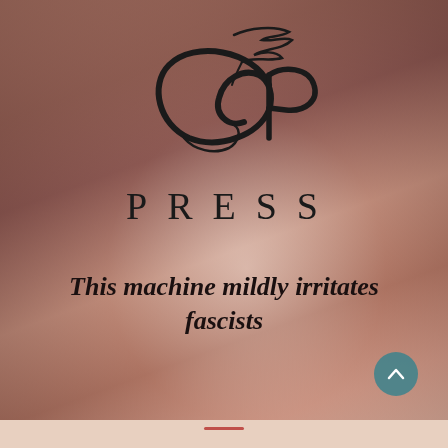[Figure (logo): CP Press logo: stylized cursive letters forming a logo with a ribbon/quill element on top, in black, followed by the word PRESS in spaced serif capitals below]
This machine mildly irritates fascists